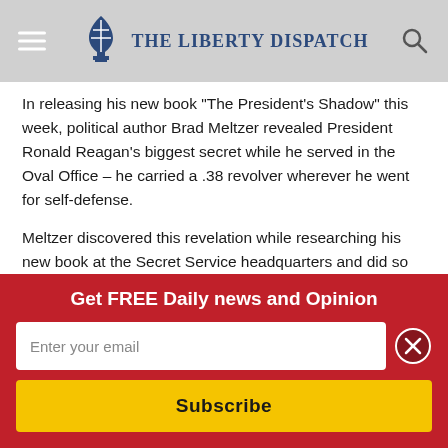The Liberty Dispatch
In releasing his new book “The President’s Shadow” this week, political author Brad Meltzer revealed President Ronald Reagan’s biggest secret while he served in the Oval Office – he carried a .38 revolver wherever he went for self-defense.
Meltzer discovered this revelation while researching his new book at the Secret Service headquarters and did so almost by accident.
In sharing his research experience in a New York Daily News
Get FREE Daily news and Opinion
Enter your email
Subscribe